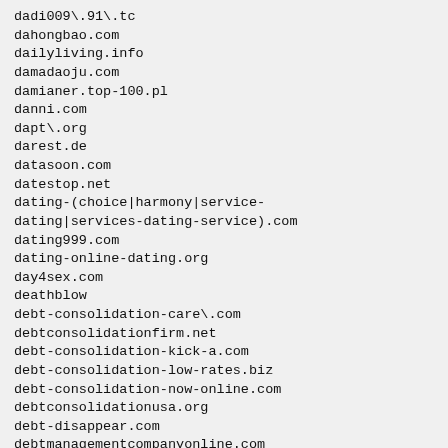dadi009\.91\.tc
dahongbao.com
dailyliving.info
damadaoju.com
damianer.top-100.pl
danni.com
dapt\.org
darest.de
datasoon.com
datestop.net
dating-(choice|harmony|service-dating|services-dating-service).com
dating999.com
dating-online-dating.org
day4sex.com
deathblow
debt-consolidation-care\.com
debtconsolidationfirm.net
debt-consolidation-kick-a.com
debt-consolidation-low-rates.biz
debt-consolidation-now-online.com
debtconsolidationusa.org
debt-disappear.com
debtmanagementcompanyonline.com
debt-solution-tips.com